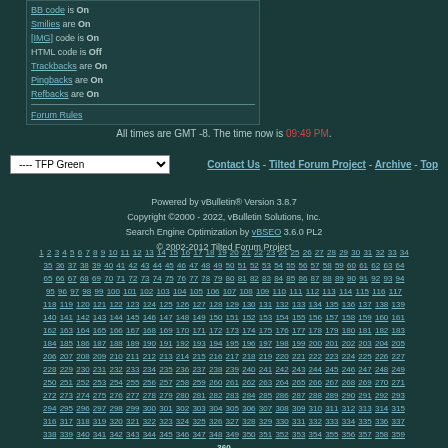BB code is On
Smilies are On
[IMG] code is On
HTML code is Off
Trackbacks are On
Pingbacks are On
Refbacks are On
Forum Rules
All times are GMT -8. The time now is 09:49 PM.
---- TFP Green
Contact Us - Tilted Forum Project - Archive - Top
Powered by vBulletin® Version 3.8.7
Copyright ©2000 - 2022, vBulletin Solutions, Inc.
Search Engine Optimization by vBSEO 3.6.0 PL2
© 2002-2012 Tilted Forum Project
1 2 3 4 5 6 7 8 9 10 11 12 13 14 15 16 17 18 19 20 21 22 23 24 25 26 27 28 29 30 31 32 33 34 35 36 37 38 39 40 41 42 43 44 45 46 47 48 49 50 51 52 53 54 55 56 57 58 59 60 61 62 63 64 65 66 67 68 69 70 71 72 73 74 75 76 77 78 79 80 81 82 83 84 85 86 87 88 89 90 91 92 93 94 95 96 97 98 99 100 101 102 103 104 105 106 107 108 109 110 111 112 113 114 115 116 117 118 119 120 121 122 123 124 125 126 127 128 129 130 131 132 133 134 135 136 137 138 139 140 141 142 143 144 145 146 147 148 149 150 151 152 153 154 155 156 157 158 159 160 161 162 163 164 165 166 167 168 169 170 171 172 173 174 175 176 177 178 179 180 181 182 183 184 185 186 187 188 189 190 191 192 193 194 195 196 197 198 199 200 201 202 203 204 205 206 207 208 209 210 211 212 213 214 215 216 217 218 219 220 221 222 223 224 225 226 227 228 229 230 231 232 233 234 235 236 237 238 239 240 241 242 243 244 245 246 247 248 249 250 251 252 253 254 255 256 257 258 259 260 261 262 263 264 265 266 267 268 269 270 271 272 273 274 275 276 277 278 279 280 281 282 283 284 285 286 287 288 289 290 291 292 293 294 295 296 297 298 299 300 301 302 303 304 305 306 307 308 309 310 311 312 313 314 315 316 317 318 319 320 321 322 323 324 325 326 327 328 329 330 331 332 333 334 335 336 337 338 339 340 341 342 343 344 345 346 347 348 349 350 351 352 353 354 355 356 357 358 359 360